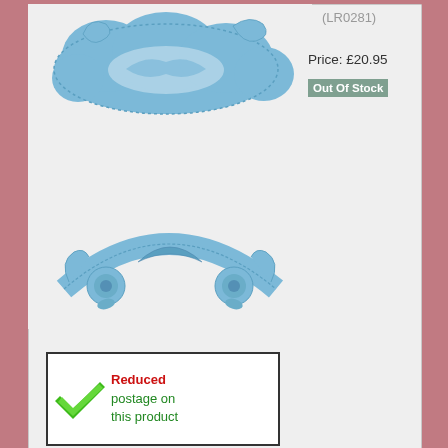(LR0281)
Price: £20.95
Out Of Stock
[Figure (photo): Blue lace die-cut craft embellishments on light grey background]
[Figure (illustration): Green checkmark with text: Reduced postage on this product]
02...
This website uses cookies to ensure you get the best experience on our website.  Learn more
Got it!